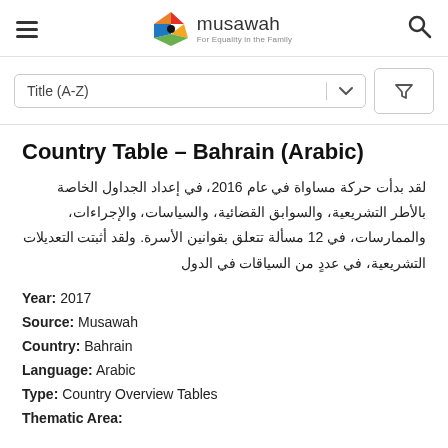musawah — For Equality in the Family
Title (A-Z)
Country Table – Bahrain (Arabic)
لقد بدأت حركة مساواة في عام 2016، في إعداد الجداول الخاصة بالأطر التشريعية، والسوابق القضائية، والسياسات، والإجراءات، والممارسات، في 12 مسألة تتعلق بقوانين الأسرة. ولقد أثبتت التعديلات التشريعية، في عددٍ من السياقات في الدول
Year: 2017
Source: Musawah
Country: Bahrain
Language: Arabic
Type: Country Overview Tables
Thematic Area: